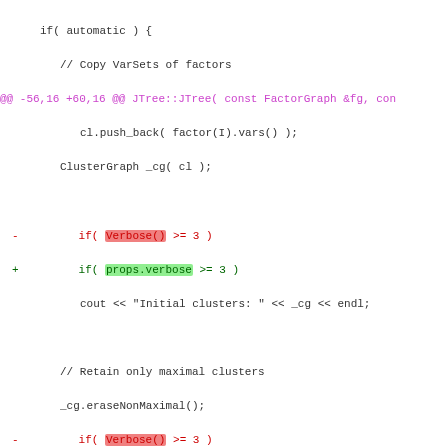[Figure (screenshot): A code diff view showing changes to a C++ source file (JTree.cpp). Lines show replacement of Verbose() calls with props.verbose references. Diff headers shown in magenta, removed lines in red with red highlight on Verbose(), added lines in green with green highlight on props.verbose.]